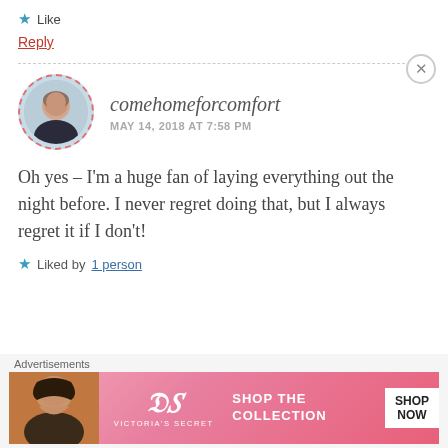★ Like
Reply
comehomeforcomfort — MAY 14, 2018 AT 7:58 PM
Oh yes – I'm a huge fan of laying everything out the night before. I never regret doing that, but I always regret it if I don't!
★ Liked by 1 person
Advertisements
[Figure (photo): Victoria's Secret advertisement banner with a woman's photo, VS logo, 'SHOP THE COLLECTION' text, and 'SHOP NOW' button]